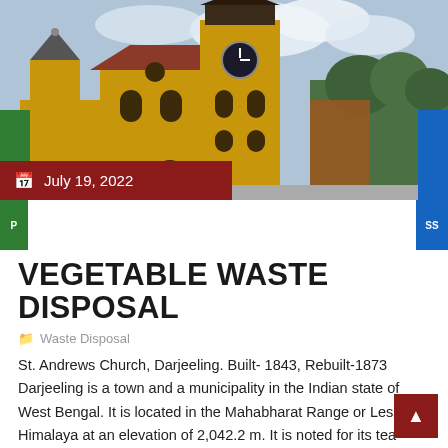[Figure (photo): St. Andrews Church in Darjeeling, a yellow Gothic-style church with a tall clock tower against a partly cloudy sky, with green trees in the background.]
July 19, 2022
VEGETABLE WASTE DISPOSAL
Waste Disposal
St. Andrews Church, Darjeeling. Built- 1843, Rebuilt-1873 Darjeeling is a town and a municipality in the Indian state of West Bengal. It is located in the Mahabharat Range or Lesser Himalaya at an elevation of 2,042.2 m. It is noted for its tea industry and the Darjeeling Himalayan Railway, a UNESCO World